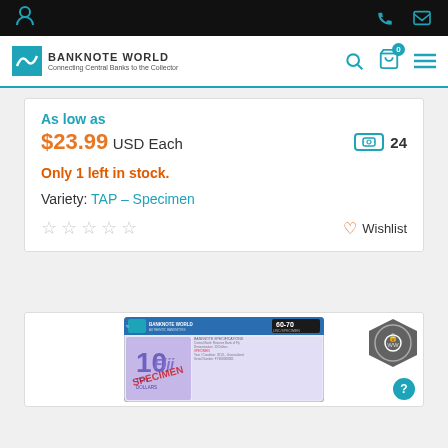Banknote World — top navigation bar with logo, search, cart (0), menu icons
As low as
$23.99 USD Each — reward points: 24
Only 1 left in stock.
Variety: TAP – Specimen
Star rating (0 stars) | Wishlist
[Figure (photo): Banknote World graded specimen banknote showing a 10 Fiji Dollars note with red SPECIMEN overprint, graded 60-70 UNC/SPECIMEN]